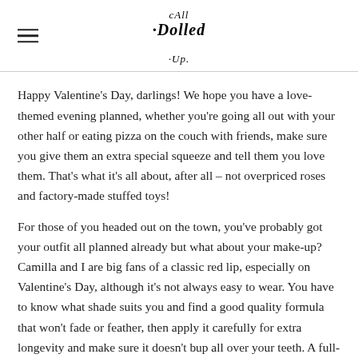All Dolled Up
Happy Valentine's Day, darlings! We hope you have a love-themed evening planned, whether you're going all out with your other half or eating pizza on the couch with friends, make sure you give them an extra special squeeze and tell them you love them. That's what it's all about, after all – not overpriced roses and factory-made stuffed toys!
For those of you headed out on the town, you've probably got your outfit all planned already but what about your make-up? Camilla and I are big fans of a classic red lip, especially on Valentine's Day, although it's not always easy to wear. You have to know what shade suits you and find a good quality formula that won't fade or feather, then apply it carefully for extra longevity and make sure it doesn't up all over your teeth. A full-on ruby pout really isn't th